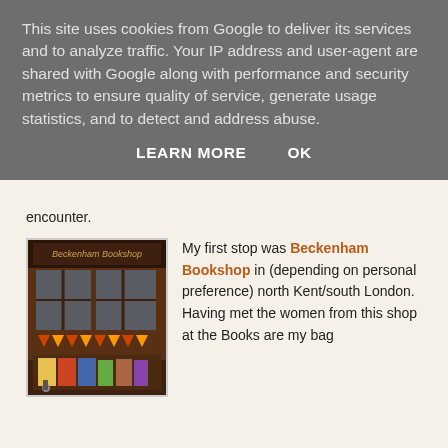This site uses cookies from Google to deliver its services and to analyze traffic. Your IP address and user-agent are shared with Google along with performance and security metrics to ensure quality of service, generate usage statistics, and to detect and address abuse.
LEARN MORE   OK
encounter.
[Figure (photo): Exterior of Beckenham Bookshop storefront with sign and window display of books, decorated with bunting]
My first stop was Beckenham Bookshop in (depending on personal preference) north Kent/south London. Having met the women from this shop at the Books are my bag